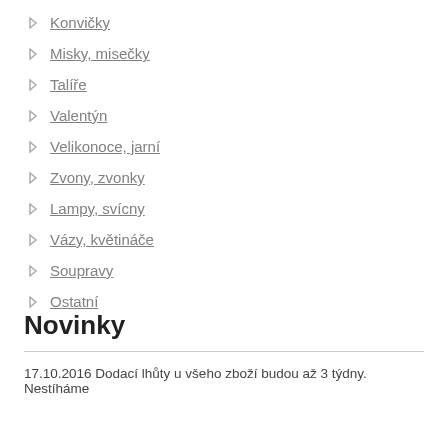Konvičky
Misky, misečky
Talíře
Valentýn
Velikonoce, jarní
Zvony, zvonky
Lampy, svícny
Vázy, květináče
Soupravy
Ostatní
Novinky
17.10.2016 Dodací lhůty u všeho zboží budou až 3 týdny. Nestíháme